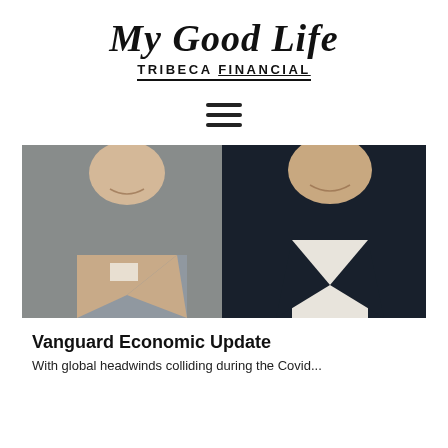My Good Life
TRIBECA FINANCIAL
[Figure (photo): Hamburger menu icon (three horizontal lines)]
[Figure (photo): Two men in business attire smiling at a professional event, standing side by side. Left man wears a tan blazer and grey sweater; right man wears a dark navy suit with white shirt.]
Vanguard Economic Update
With global headwinds colliding during the Covid...